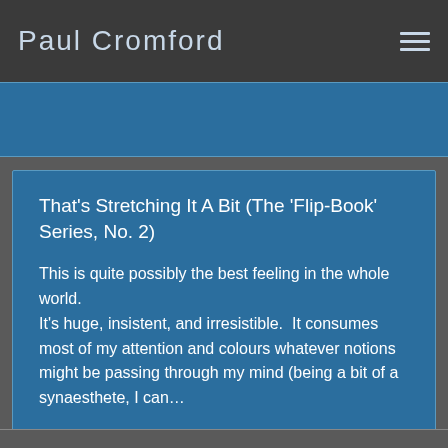Paul Cromford
That's Stretching It A Bit (The 'Flip-Book' Series, No. 2)
This is quite possibly the best feeling in the whole world.
It's huge, insistent, and irresistible.  It consumes most of my attention and colours whatever notions might be passing through my mind (being a bit of a synaesthete, I can…
Read more